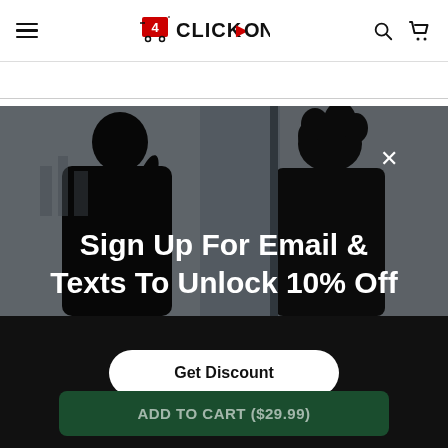4CLICK>ON — navigation header with hamburger menu, logo, search and cart icons
[Figure (photo): Dark silhouette of two people (one with curly hair) sitting near a bright window, used as background for a promotional modal overlay]
Sign Up For Email & Texts To Unlock 10% Off
Get Discount
ADD TO CART ($29.99)